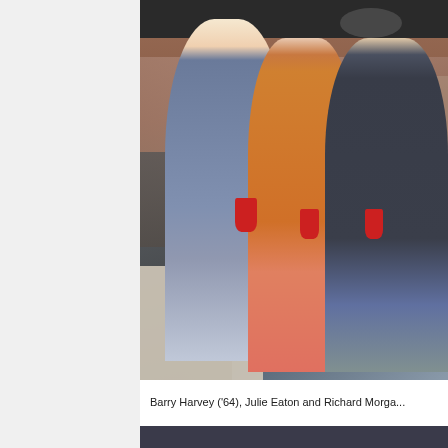[Figure (photo): Three people standing together at an indoor gathering or reunion event. The man on the left wears a blue checked short-sleeve shirt and holds a red cup. The woman in the center wears an orange top and pink patterned pants and holds a red cup. The man on the right wears a dark striped polo shirt and holds a red cup. Background shows a crowded room with other attendees, a ceiling fan, and decorations. A table with bottles and items is visible on the left side.]
Barry Harvey ('64), Julie Eaton and Richard Morga...
[Figure (photo): Partial view of another photo visible at the bottom of the page, showing a dark background.]